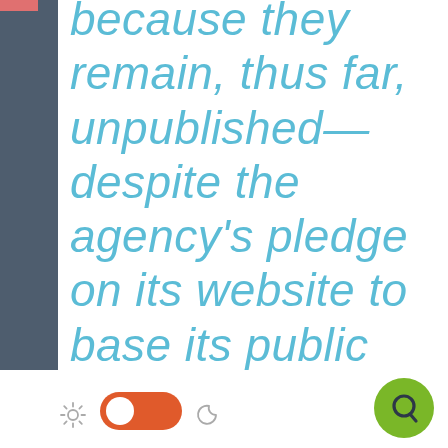because they remain, thus far, unpublished—despite the agency's pledge on its website to base its public health pronouncements on high-quality
[Figure (screenshot): UI elements: dark left navigation bar with red indicator, light/dark mode toggle switch (orange, toggled on), sun and moon icons, green circular Q chat button in bottom right corner]